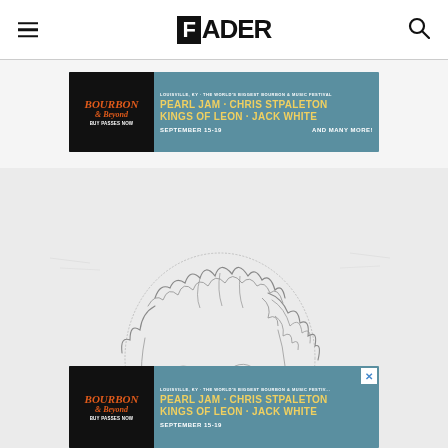The FADER
[Figure (infographic): Bourbon & Beyond festival advertisement banner. Louisville, KY - The World's Biggest Bourbon & Music Festival. Pearl Jam - Chris Stpaleton, Kings of Leon - Jack White. September 15-19. And many more!]
[Figure (illustration): Pencil sketch illustration of a person with curly hair, partially visible, on a light gray background]
[Figure (infographic): Bourbon & Beyond festival advertisement banner (bottom overlay with close X button). Louisville, KY - The World's Biggest Bourbon & Music Festival. Pearl Jam - Chris Stpaleton, Kings of Leon - Jack White. September 15-19.]